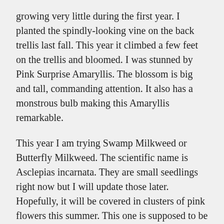growing very little during the first year. I planted the spindly-looking vine on the back trellis last fall. This year it climbed a few feet on the trellis and bloomed. I was stunned by Pink Surprise Amaryllis. The blossom is big and tall, commanding attention. It also has a monstrous bulb making this Amaryllis remarkable.
This year I am trying Swamp Milkweed or Butterfly Milkweed. The scientific name is Asclepias incarnata. They are small seedlings right now but I will update those later. Hopefully, it will be covered in clusters of pink flowers this summer. This one is supposed to be less invasive than the Showy Milkweed. I am hoping to help out some butterflies this year.
Featured Post
amaryllis pink surprise, asclasclepias incarnata, asclepias